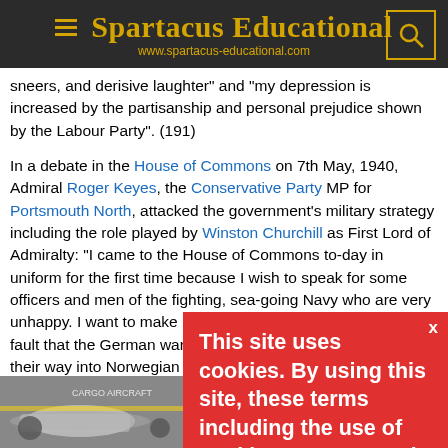Spartacus Educational — www.spartacus-educational.com
sneers, and derisive laughter" and "my depression is increased by the partisanship and personal prejudice shown by the Labour Party". (191)
In a debate in the House of Commons on 7th May, 1940, Admiral Roger Keyes, the Conservative Party MP for Portsmouth North, attacked the government's military strategy including the role played by Winston Churchill as First Lord of Admiralty: "I came to the House of Commons to-day in uniform for the first time because I wish to speak for some officers and men of the fighting, sea-going Navy who are very unhappy. I want to make it perfectly clear that it is not their fault that the German warships and transports which forced their way into Norwegian ports by treachery were not followed in and destroyed as they were at Narvik. It...
[Figure (screenshot): Cookie consent overlay in red: 'This site uses cookies. By using this site, these terms including the use of cookies are accepted. More explanation can be found in our']
[Figure (photo): Advertisement banner at bottom showing an aircraft being loaded, with text 'WITHOUT REGARD TO POLITICS, RELIGION, OR ABILITY TO PAY']